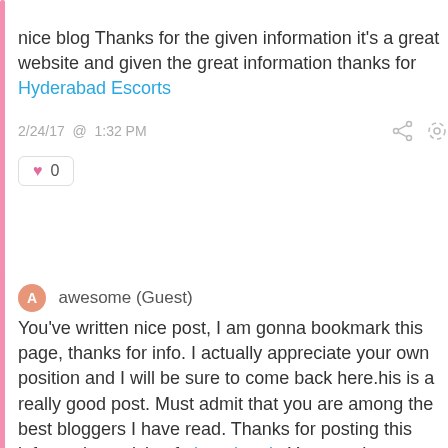nice blog Thanks for the given information it's a great website and given the great information thanks for Hyderabad Escorts
2/24/17 @ 1:32 PM
♥ 0
awesome (Guest)
You've written nice post, I am gonna bookmark this page, thanks for info. I actually appreciate your own position and I will be sure to come back here.his is a really good post. Must admit that you are among the best bloggers I have read. Thanks for posting this informative article of obat aborsi . You may havce a lot of jual obat aborsi and obat aborsi as well jual obat aborsi